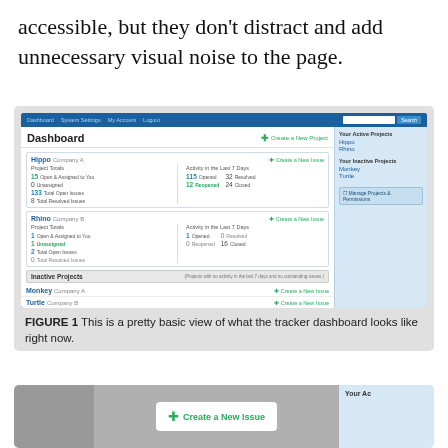accessible, but they don't distract and add unnecessary visual noise to the page.
[Figure (screenshot): Screenshot of a project tracker dashboard showing Hippo and Rhino projects with issue counts, activity stats, and a sidebar with active/inactive projects. Below the main content, inactive projects (Monkey, Turtle) are listed.]
FIGURE 1 This is a pretty basic view of what the tracker dashboard looks like right now.
[Figure (screenshot): Partial screenshot showing the bottom portion of a redesigned dashboard with a Create a New Issue button card and Your Ac(tive Projects) sidebar panel visible.]